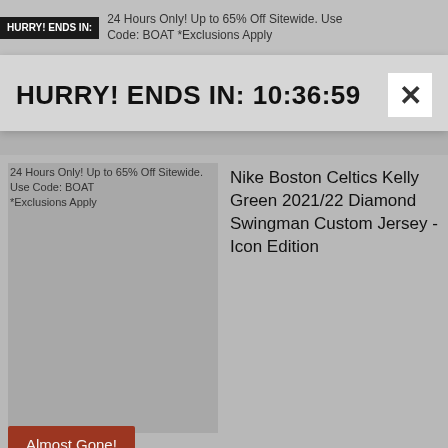[Figure (screenshot): Top banner showing hurry label and promotional text: 24 Hours Only! Up to 65% Off Sitewide. Use Code: BOAT *Exclusions Apply]
HURRY! ENDS IN:
HURRY! ENDS IN: 10:36:59
24 Hours Only! Up to 65% Off Sitewide. Use Code: BOAT *Exclusions Apply
Nike Boston Celtics Kelly Green 2021/22 Diamond Swingman Custom Jersey - Icon Edition
Nike Boston Celtics Kelly Green 2021/22 Diamond Swingman Custom Jersey - Icon Edition
Almost Gone!
$3374 with code
Regular: $4439
Fanatics Authentic Al Horford Boston Celtics Framed 15" x